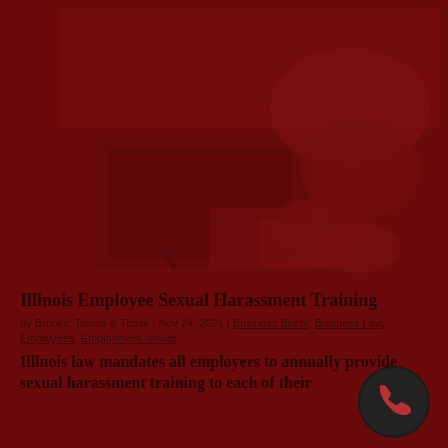[Figure (photo): A dark reddish-tinted photo showing hands over a laptop keyboard with papers, representing workplace or office environment related to harassment training.]
Illinois Employee Sexual Harassment Training
by Brooks, Tarulis & Tibble | Nov 24, 2021 | Business Briefs, Business Law, Employees, Employment Issues
Illinois law mandates all employers to annually provide sexual harassment training to each of their